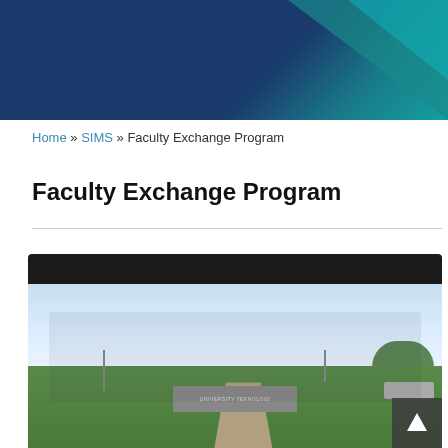Home » SIMS » Faculty Exchange Program
Faculty Exchange Program
[Figure (photo): Group photo of students and faculty posing in front of a university sign outdoors on a campus, with greenery, trees, and a blue sky in the background. A dark header bar appears above the photo.]